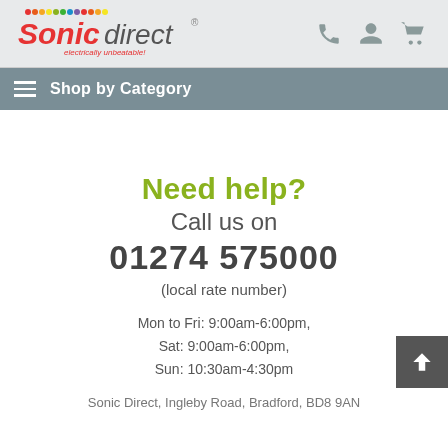Sonic direct - electrically unbeatable! [logo with phone, user, cart icons]
Shop by Category
Need help?
Call us on
01274 575000
(local rate number)
Mon to Fri: 9:00am-6:00pm,
Sat: 9:00am-6:00pm,
Sun: 10:30am-4:30pm
Sonic Direct, Ingleby Road, Bradford, BD8 9AN